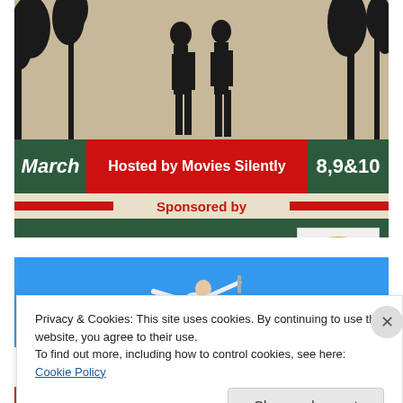[Figure (advertisement): Movie promotional banner for 'The House of Mystery' showing silhouette figures at top, green/red bars with text 'March | Hosted by Movies Silently | 8, 9 & 10', sponsored by section, and Flicker Alley DVD logo]
[Figure (photo): Person leaping/flying on bright blue background, appears to be another advertisement]
Privacy & Cookies: This site uses cookies. By continuing to use this website, you agree to their use.
To find out more, including how to control cookies, see here: Cookie Policy
Close and accept